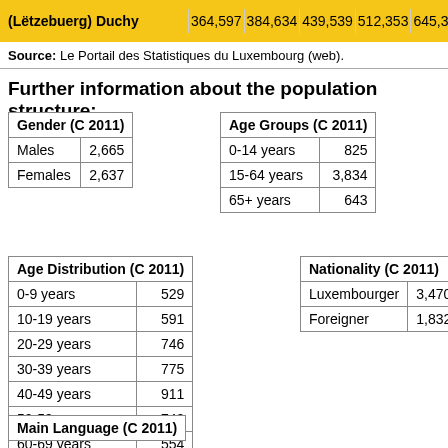| (Lëtzebuerg) Duchy | 364,597 | 384,634 | 439,539 | 512,353 | 645,397 |
| --- | --- | --- | --- | --- | --- |
Source: Le Portail des Statistiques du Luxembourg (web).
Further information about the population structure:
| Gender (C 2011) |  |
| --- | --- |
| Males | 2,665 |
| Females | 2,637 |
| Age Groups (C 2011) |  |
| --- | --- |
| 0-14 years | 825 |
| 15-64 years | 3,834 |
| 65+ years | 643 |
| Age Distribution (C 2011) |  |
| --- | --- |
| 0-9 years | 529 |
| 10-19 years | 591 |
| 20-29 years | 746 |
| 30-39 years | 775 |
| 40-49 years | 911 |
| 50-59 years | 742 |
| 60-69 years | 554 |
| 70-79 years | 327 |
| 80+ years | 127 |
| Nationality (C 2011) |  |
| --- | --- |
| Luxembourger | 3,470 |
| Foreigner | 1,832 |
| Main Language (C 2011) |  |
| --- | --- |